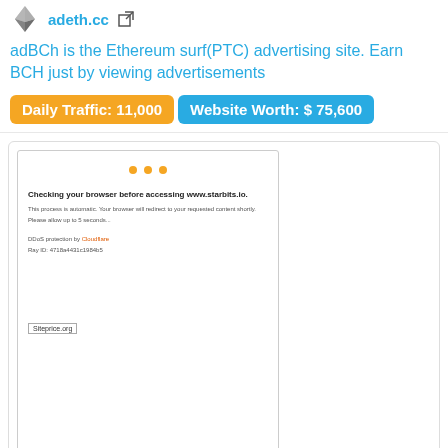adBCh is the Ethereum surf(PTC) advertising site. Earn BCH just by viewing advertisements
Daily Traffic: 11,000  Website Worth: $ 75,600
[Figure (screenshot): Screenshot of starbits.io browser check page: 'Checking your browser before accessing www.starbits.io.' with Cloudflare DDoS protection notice and Siteprice.org watermark]
starbits.io